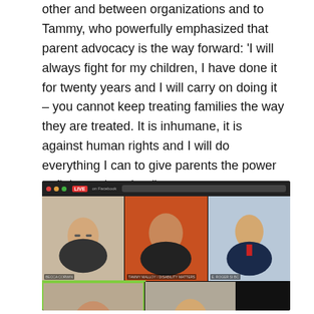other and between organizations and to Tammy, who powerfully emphasized that parent advocacy is the way forward: 'I will always fight for my children, I have done it for twenty years and I will carry on doing it – you cannot keep treating families the way they are treated. It is inhumane, it is against human rights and I will do everything I can to give parents the power to fight against that.'
[Figure (screenshot): Screenshot of a Facebook Live video call showing multiple participants in a grid layout. Top row has three participants: a woman with glasses smiling, a person with long hair in a warmly lit room, and a man in a suit. Bottom row shows two more participants: an older woman smiling (highlighted with green border), and a bald man smiling. A reaction overlay with a heart icon appears in the bottom right.]